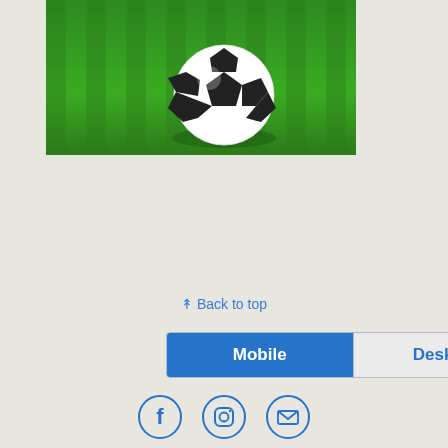[Figure (photo): A soccer ball resting on green grass field]
⇈ Back to top
[Figure (infographic): Mobile/Desktop toggle button with Mobile selected in blue and Desktop in outline style]
[Figure (infographic): Three social media icons in circles: Facebook, Instagram, and Email/Mail]